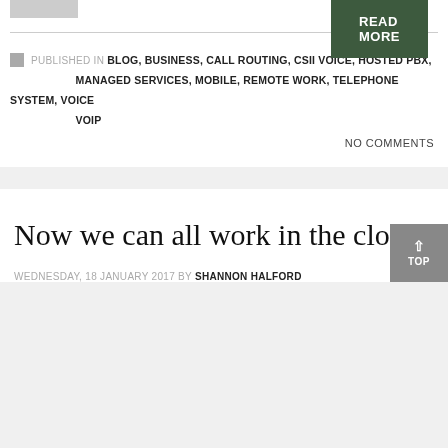[Figure (other): Small grey placeholder image thumbnail in top left]
READ MORE
PUBLISHED IN BLOG, BUSINESS, CALL ROUTING, CSII VOICE, HOSTED PBX, MANAGED SERVICES, MOBILE, REMOTE WORK, TELEPHONE SYSTEM, VOICE VOIP
NO COMMENTS
Now we can all work in the cloud
WEDNESDAY, 18 JANUARY 2017 BY SHANNON HALFORD